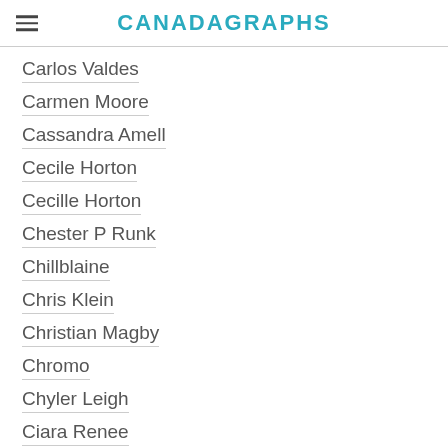CANADAGRAPHS
Carlos Valdes
Carmen Moore
Cassandra Amell
Cecile Horton
Cecille Horton
Chester P Runk
Chillblaine
Chris Klein
Christian Magby
Chromo
Chyler Leigh
Ciara Renee
Cicada
Cisco Ramon